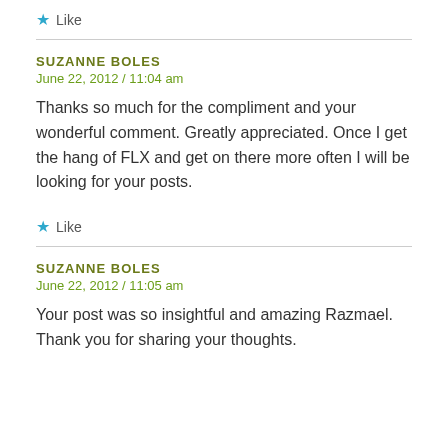★ Like
SUZANNE BOLES
June 22, 2012 / 11:04 am
Thanks so much for the compliment and your wonderful comment. Greatly appreciated. Once I get the hang of FLX and get on there more often I will be looking for your posts.
★ Like
SUZANNE BOLES
June 22, 2012 / 11:05 am
Your post was so insightful and amazing Razmael. Thank you for sharing your thoughts.